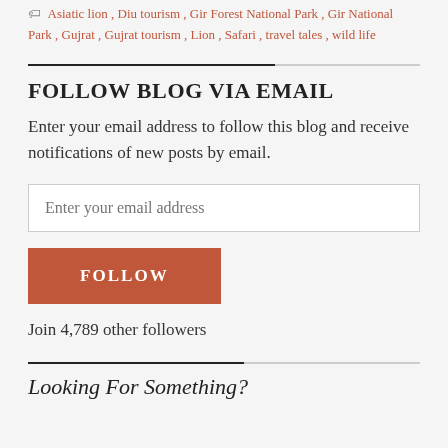Asiatic lion, Diu tourism, Gir Forest National Park, Gir National Park, Gujrat, Gujrat tourism, Lion, Safari, travel tales, wild life
FOLLOW BLOG VIA EMAIL
Enter your email address to follow this blog and receive notifications of new posts by email.
Enter your email address
FOLLOW
Join 4,789 other followers
Looking For Something?